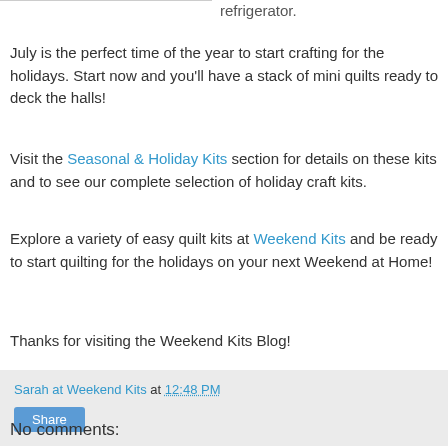including the kitchen refrigerator.
July is the perfect time of the year to start crafting for the holidays. Start now and you'll have a stack of mini quilts ready to deck the halls!
Visit the Seasonal & Holiday Kits section for details on these kits and to see our complete selection of holiday craft kits.
Explore a variety of easy quilt kits at Weekend Kits and be ready to start quilting for the holidays on your next Weekend at Home!
Thanks for visiting the Weekend Kits Blog!
Sarah at Weekend Kits at 12:48 PM
Share
No comments: